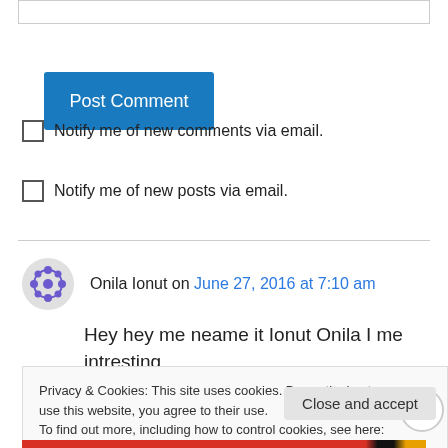[Figure (other): Post Comment button - blue rectangular button with white text]
Notify me of new comments via email.
Notify me of new posts via email.
Onila Ionut on June 27, 2016 at 7:10 am
Hey hey me neame it Ionut Onila I me intresting for registred British company in Sweden     with
Privacy & Cookies: This site uses cookies. By continuing to use this website, you agree to their use.
To find out more, including how to control cookies, see here: Cookie Policy
Close and accept